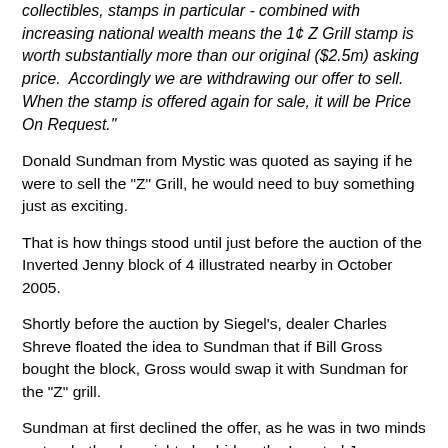collectibles, stamps in particular - combined with increasing national wealth means the 1¢ Z Grill stamp is worth substantially more than our original ($2.5m) asking price.  Accordingly we are withdrawing our offer to sell.  When the stamp is offered again for sale, it will be Price On Request."
Donald Sundman from Mystic was quoted as saying if he were to sell the "Z" Grill, he would need to buy something just as exciting.
That is how things stood until just before the auction of the Inverted Jenny block of 4 illustrated nearby in October 2005.
Shortly before the auction by Siegel's, dealer Charles Shreve floated the idea to Sundman that if Bill Gross bought the block, Gross would swap it with Sundman for the "Z" grill.
Sundman at first declined the offer, as he was in two minds as to whether he might also bid on the Inverted Jenny plate block for stock or investment.